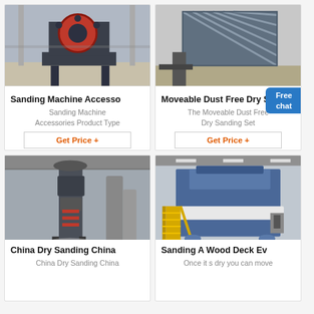[Figure (photo): Sanding machine accessory — large industrial jaw crusher machine with red flywheel in a factory setting]
Sanding Machine Accesso
Sanding Machine Accessories Product Type
Get Price +
[Figure (photo): Moveable Dust Free Dry Sanding Set — industrial sanding conveyor/screen machine outdoors]
Moveable Dust Free Dry S
The Moveable Dust Free Dry Sanding Set
Get Price +
[Figure (photo): China Dry Sanding China — large industrial vertical roller mill machine in a factory]
China Dry Sanding China
China Dry Sanding China
[Figure (photo): Sanding A Wood Deck — large blue industrial machine with yellow stairs/ladders in a warehouse]
Sanding A Wood Deck Ev
Once it s dry you can move